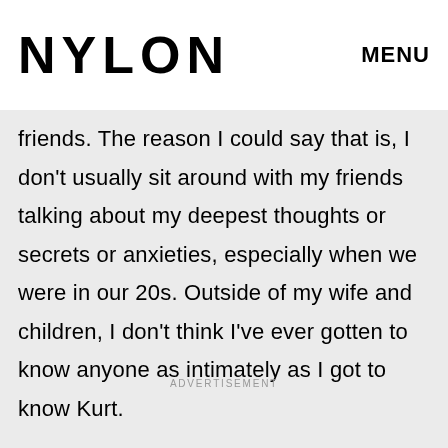NYLON   MENU
how Kurt better than I got to know any of my
friends. The reason I could say that is, I don't usually sit around with my friends talking about my deepest thoughts or secrets or anxieties, especially when we were in our 20s. Outside of my wife and children, I don't think I've ever gotten to know anyone as intimately as I got to know Kurt.
ADVERTISEMENT